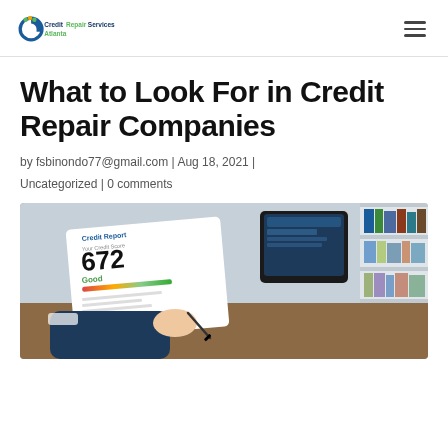CreditRepairServicesAtlanta
What to Look For in Credit Repair Companies
by fsbinondo77@gmail.com | Aug 18, 2021 |
Uncategorized | 0 comments
[Figure (photo): Person writing on a credit report showing a score of 672 (Good), next to a tablet/laptop, with a bookshelf in the background]